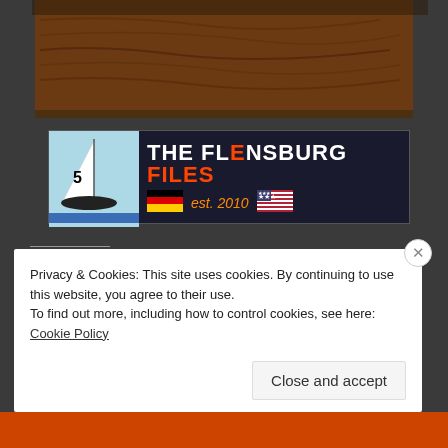[Figure (photo): Top portion of a photo showing a dark wood-grained surface, partially cropped]
[Figure (logo): The Flensburg Files banner logo with sailboat on blue background, German and US flags, text 'THE FLENSBURG FILES est. 2010']
Teilen mit:
[Figure (screenshot): Social sharing buttons: Tweet, Share (LinkedIn), Post (Tumblr), Save (Pinterest), Pocket (0), Email, Print, Telegram, WhatsApp, Share (Skype)]
Privacy & Cookies: This site uses cookies. By continuing to use this website, you agree to their use.
To find out more, including how to control cookies, see here: Cookie Policy
Close and accept